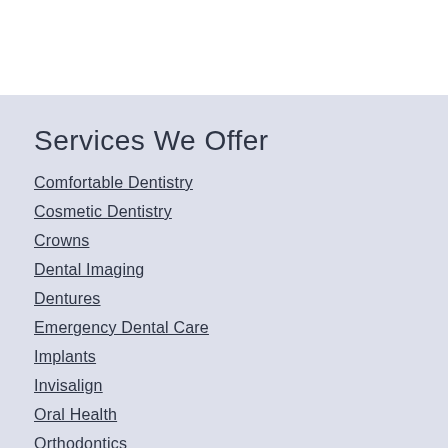Services We Offer
Comfortable Dentistry
Cosmetic Dentistry
Crowns
Dental Imaging
Dentures
Emergency Dental Care
Implants
Invisalign
Oral Health
Orthodontics
Teeth Whitening